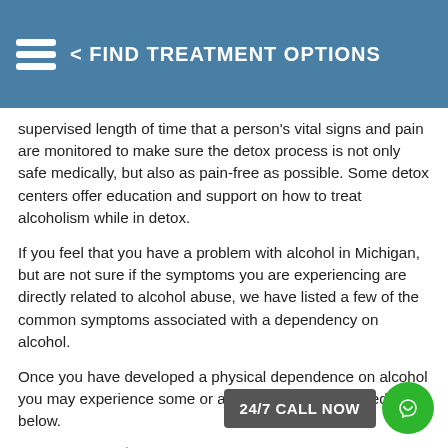< FIND TREATMENT OPTIONS
supervised length of time that a person's vital signs and pain are monitored to make sure the detox process is not only safe medically, but also as pain-free as possible. Some detox centers offer education and support on how to treat alcoholism while in detox.
If you feel that you have a problem with alcohol in Michigan, but are not sure if the symptoms you are experiencing are directly related to alcohol abuse, we have listed a few of the common symptoms associated with a dependency on alcohol.
Once you have developed a physical dependence on alcohol you may experience some or all of the symptoms listed below.
Paranoia
Anxiety
Agitation
Tremors